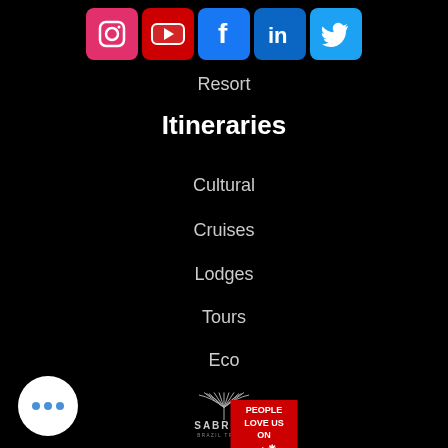[Figure (infographic): Social media icons row: Instagram (pink/red), YouTube (red), Facebook (blue), LinkedIn (blue), Twitter (light blue)]
Resort
Itineraries
Cultural
Cruises
Lodges
Tours
Eco
[Figure (logo): Sabrina Brazil Travel logo — stylized palm tree with rays, text SABRINA BRAZIL TRAVEL]
[Figure (logo): Yelp badge: PEOPLE LOVE US ON yelp with yelp logo]